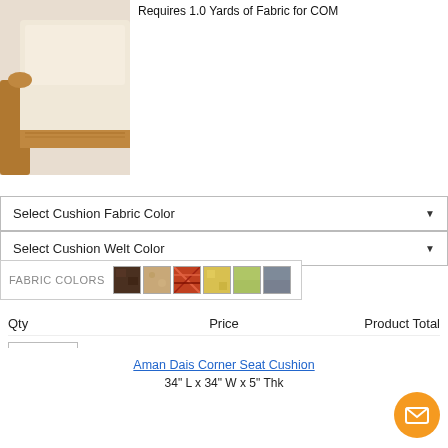Requires 1.0 Yards of Fabric for COM
[Figure (photo): Product photo of a cushioned wooden furniture piece with cream/white fabric seat cushion]
Select Cushion Fabric Color
Select Cushion Welt Color
[Figure (infographic): Fabric color swatches row: dark brown, tan/beige, orange/red, yellow, green, gray-blue]
| Qty | Price | Product Total |
| --- | --- | --- |
| 1 | $122.00 (strikethrough) / $103.00 | $103.00 |
Aman Dais Corner Seat Cushion
34" L x 34" W x 5" Thk